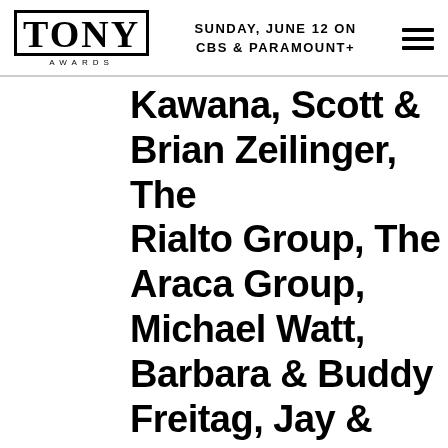TONY AWARDS | SUNDAY, JUNE 12 ON CBS & PARAMOUNT+
Kawana, Scott & Brian Zeilinger, The Rialto Group, The Araca Group, Michael Watt, Barbara & Buddy Freitag, Jay & Cindy Gutterman/Pittsburgh CLO, Elizabeth